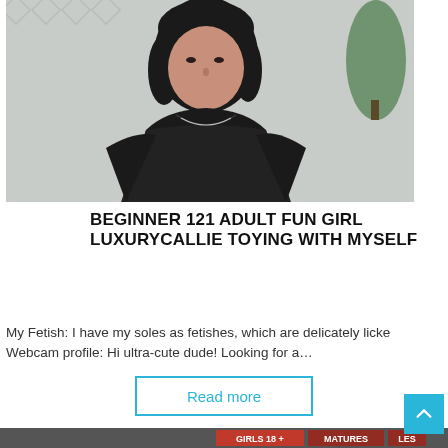[Figure (photo): Woman with dark hair wearing a black sheer top, sitting against a decorative wall background with a plant visible]
BEGINNER 121 ADULT FUN GIRL LUXURYCALLIE TOYING WITH MYSELF
My Fetish: I have my soles as fetishes, which are delicately licke Webcam profile: Hi ultra-cute dude! Looking for a…
Read more
[Figure (photo): Partial thumbnail image at bottom with category tags: GIRLS 18 +, MATURES, LES]